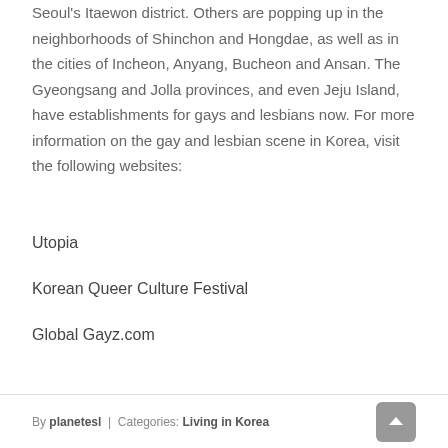Seoul's Itaewon district. Others are popping up in the neighborhoods of Shinchon and Hongdae, as well as in the cities of Incheon, Anyang, Bucheon and Ansan. The Gyeongsang and Jolla provinces, and even Jeju Island, have establishments for gays and lesbians now. For more information on the gay and lesbian scene in Korea, visit the following websites:
Utopia
Korean Queer Culture Festival
Global Gayz.com
By planetesl | Categories: Living in Korea